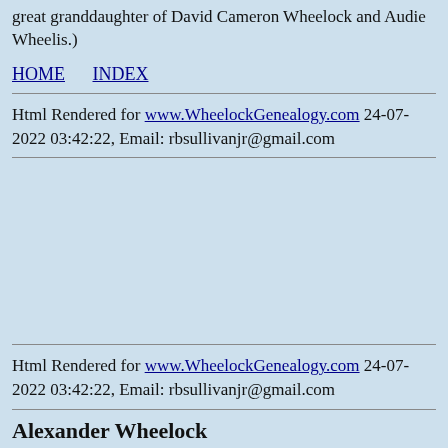great granddaughter of David Cameron Wheelock and Audie Wheelis.)
HOME   INDEX
Html Rendered for www.WheelockGenealogy.com 24-07-2022 03:42:22, Email: rbsullivanjr@gmail.com
Html Rendered for www.WheelockGenealogy.com 24-07-2022 03:42:22, Email: rbsullivanjr@gmail.com
Alexander Wheelock